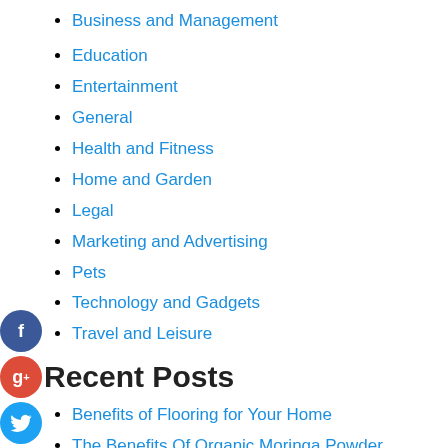Business and Management
Education
Entertainment
General
Health and Fitness
Home and Garden
Legal
Marketing and Advertising
Pets
Technology and Gadgets
Travel and Leisure
Recent Posts
Benefits of Flooring for Your Home
The Benefits Of Organic Moringa Powder
Things To Consider While Buying Designer Bridesmaid Dresses
How do they work?